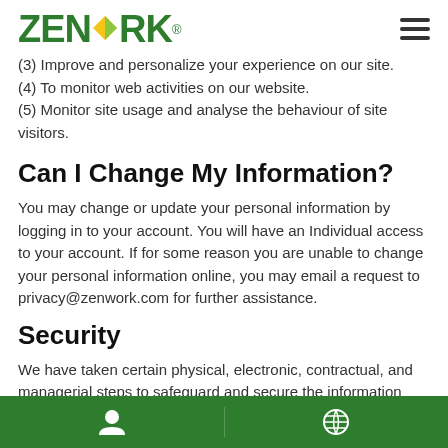ZENWORK®
(3) Improve and personalize your experience on our site.
(4) To monitor web activities on our website.
(5) Monitor site usage and analyse the behaviour of site visitors.
Can I Change My Information?
You may change or update your personal information by logging in to your account. You will have an Individual access to your account. If for some reason you are unable to change your personal information online, you may email a request to privacy@zenwork.com for further assistance.
Security
We have taken certain physical, electronic, contractual, and managerial steps to safeguard and secure the information from loss, misuse, unauthorized access or disclosure, alteration or destruction which regardless of…
Navigation icons